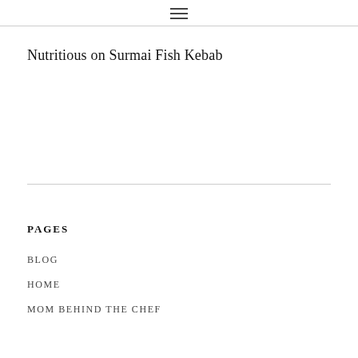☰
Nutritious on Surmai Fish Kebab
PAGES
BLOG
HOME
MOM BEHIND THE CHEF